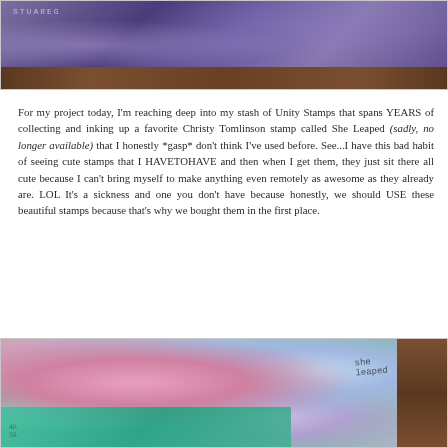[Figure (photo): Top portion of a crafting/stamping photo showing purple/blue stamped artwork on a wooden surface background]
For my project today, I'm reaching deep into my stash of Unity Stamps that spans YEARS of collecting and inking up a favorite Christy Tomlinson stamp called She Leaped (sadly, no longer available) that I honestly *gasp* don't think I've used before. See...I have this bad habit of seeing cute stamps that I HAVETOHAVE and then when I get them, they just sit there all cute because I can't bring myself to make anything even remotely as awesome as they already are. LOL It's a sickness and one you don't have because honestly, we should USE these beautiful stamps because that's why we bought them in the first place.
[Figure (photo): Bottom portion of a mixed media art project showing colorful stamped/painted artwork with teal, pink, purple colors and a small chipmunk or squirrel figure visible]